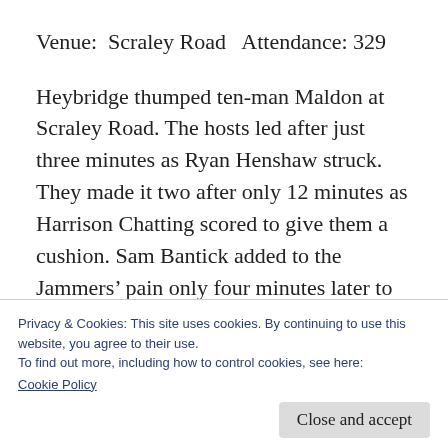Venue:  Scraley Road   Attendance: 329
Heybridge thumped ten-man Maldon at Scraley Road. The hosts led after just three minutes as Ryan Henshaw struck. They made it two after only 12 minutes as Harrison Chatting scored to give them a cushion. Sam Bantick added to the Jammers’ pain only four minutes later to make it 3-0. And a forgettable afternoon got worse for the visitors Nicholas
Privacy & Cookies: This site uses cookies. By continuing to use this website, you agree to their use.
To find out more, including how to control cookies, see here:
Cookie Policy
Close and accept